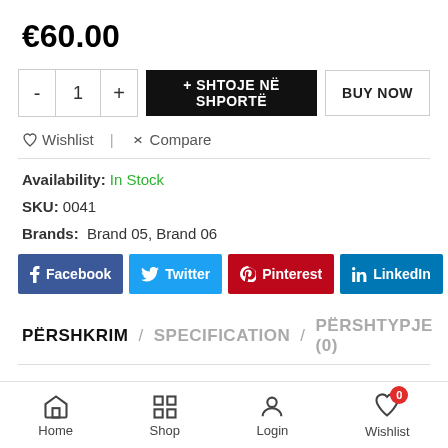€60.00
- 1 + | + SHTOJE NË SHPORTË | BUY NOW
♡ Wishlist  |  ⇄ Compare
Availability: In Stock
SKU: 0041
Brands: Brand 05, Brand 06
f Facebook  Twitter  Pinterest  in LinkedIn
PËRSHKRIM / SPECIFICATION / PËRSHTYPJE (0)
Home  Shop  Login  Wishlist